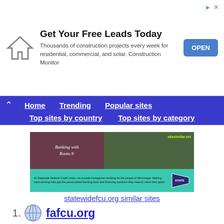[Figure (infographic): Advertisement banner: house icon on left, 'Get Your Free Leads Today' heading, body text 'Thousands of construction projects every week for residential, commercial, and solar. Construction Monitor', blue OPEN button on right]
Home   Trending   Popular sites   Top sites by country   Top sites by category
[Figure (screenshot): Website screenshot for statewidefcu.org showing 'Banking with Roots.' text over a dark reddish background on the left, a green tree-lined road on the right, sitesimilar.net watermark, and a teal banner below with description text about Statewide Federal Credit Union and a pennant logo]
statewidefcu.org similar sites
51.  fafcu.org
Welcome to F and A Federal Credit Union. We are a full service financial institution that serves the employees of Los Angeles County